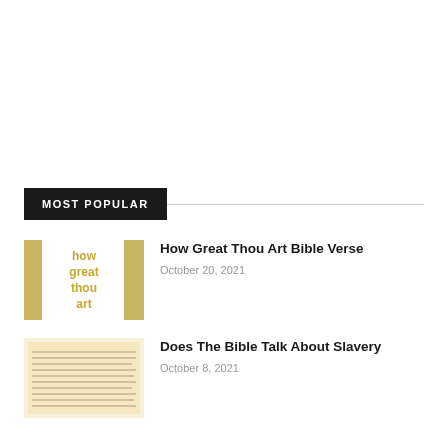MOST POPULAR
[Figure (photo): Image with text 'how great thou art' in golden letters on white background]
How Great Thou Art Bible Verse
October 20, 2021
[Figure (photo): Old text document with handwritten or printed scripture text]
Does The Bible Talk About Slavery
October 8, 2021